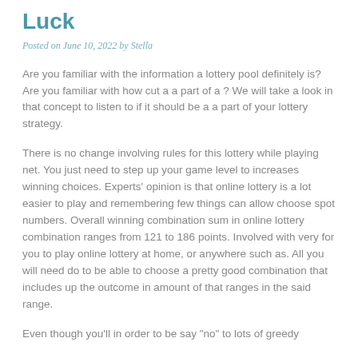Luck
Posted on June 10, 2022 by Stella
Are you familiar with the information a lottery pool definitely is? Are you familiar with how cut a a part of a ? We will take a look in that concept to listen to if it should be a a part of your lottery strategy.
There is no change involving rules for this lottery while playing net. You just need to step up your game level to increases winning choices. Experts' opinion is that online lottery is a lot easier to play and remembering few things can allow choose spot numbers. Overall winning combination sum in online lottery combination ranges from 121 to 186 points. Involved with very for you to play online lottery at home, or anywhere such as. All you will need do to be able to choose a pretty good combination that includes up the outcome in amount of that ranges in the said range.
Even though you'll in order to be say "no" to lots of greedy